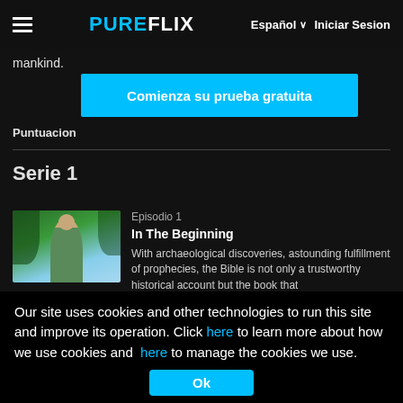≡  PUREFLIX    Español ∨  Iniciar Sesion
mankind.
Comienza su prueba gratuita
Puntuacion
Serie 1
Episodio 1
In The Beginning
With archaeological discoveries, astounding fulfillment of prophecies, the Bible is not only a trustworthy historical account but the book that
Our site uses cookies and other technologies to run this site and improve its operation. Click here to learn more about how we use cookies and here to manage the cookies we use.
Ok